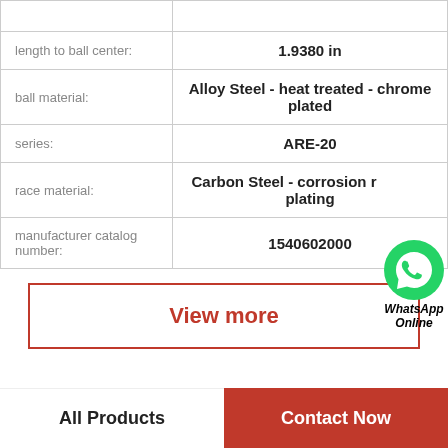| Property | Value |
| --- | --- |
| length to ball center: | 1.9380 in |
| ball material: | Alloy Steel - heat treated - chrome plated |
| series: | ARE-20 |
| race material: | Carbon Steel - corrosion resistant plating |
| manufacturer catalog number: | 1540602000 |
[Figure (logo): WhatsApp green circle logo with phone icon, labeled WhatsApp Online in bold italic text]
View more
All Products   Contact Now